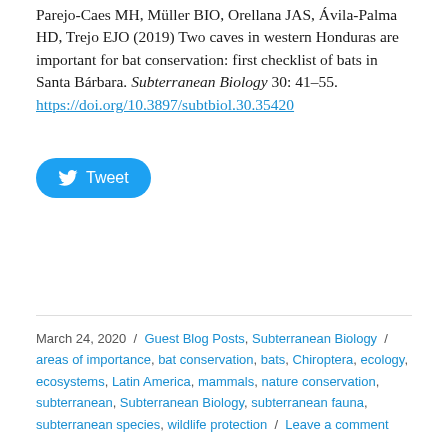Parejo-Caes MH, Müller BIO, Orellana JAS, Ávila-Palma HD, Trejo EJO (2019) Two caves in western Honduras are important for bat conservation: first checklist of bats in Santa Bárbara. Subterranean Biology 30: 41–55. https://doi.org/10.3897/subtbiol.30.35420
[Figure (other): Twitter Tweet button (blue rounded rectangle with bird icon and 'Tweet' text)]
March 24, 2020 / Guest Blog Posts, Subterranean Biology / areas of importance, bat conservation, bats, Chiroptera, ecology, ecosystems, Latin America, mammals, nature conservation, subterranean, Subterranean Biology, subterranean fauna, subterranean species, wildlife protection / Leave a comment